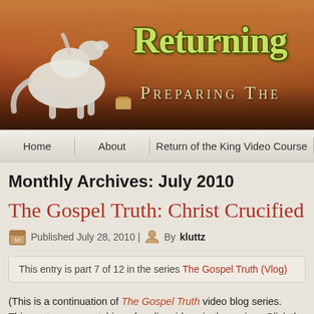[Figure (illustration): Website header banner with white horse rearing up on left, city skyline with lights in background, text 'Returning' in green on brownish-red gradient background, and 'Preparing the' in stylized text below]
Home | About | Return of the King Video Course
Monthly Archives: July 2010
The Gospel Truth: Christ Crucified (Vlo...
Published July 28, 2010 | By kluttz
This entry is part 7 of 12 in the series The Gospel Truth (Vlog)
(This is a continuation of The Gospel Truth video blog series. This post assumes watching of earlier videos in the series. Click the link above to watch the entire week's installment.)